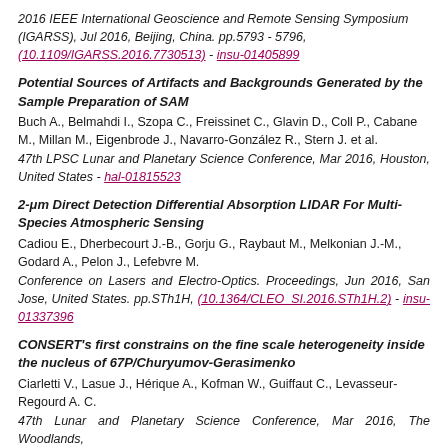2016 IEEE International Geoscience and Remote Sensing Symposium (IGARSS), Jul 2016, Beijing, China. pp.5793 - 5796, (10.1109/IGARSS.2016.7730513) - insu-01405899
Potential Sources of Artifacts and Backgrounds Generated by the Sample Preparation of SAM
Buch A., Belmahdi I., Szopa C., Freissinet C., Glavin D., Coll P., Cabane M., Millan M., Eigenbrode J., Navarro-González R., Stern J. et al.
47th LPSC Lunar and Planetary Science Conference, Mar 2016, Houston, United States - hal-01815523
2-μm Direct Detection Differential Absorption LIDAR For Multi-Species Atmospheric Sensing
Cadiou E., Dherbecourt J.-B., Gorju G., Raybaut M., Melkonian J.-M., Godard A., Pelon J., Lefebvre M.
Conference on Lasers and Electro-Optics. Proceedings, Jun 2016, San Jose, United States. pp.STh1H, (10.1364/CLEO_SI.2016.STh1H.2) - insu-01337396
CONSERT's first constrains on the fine scale heterogeneity inside the nucleus of 67P/Churyumov-Gerasimenko
Ciarletti V., Lasue J., Hérique A., Kofman W., Guiffaut C., Levasseur-Regourd A. C.
47th Lunar and Planetary Science Conference, Mar 2016, The Woodlands,